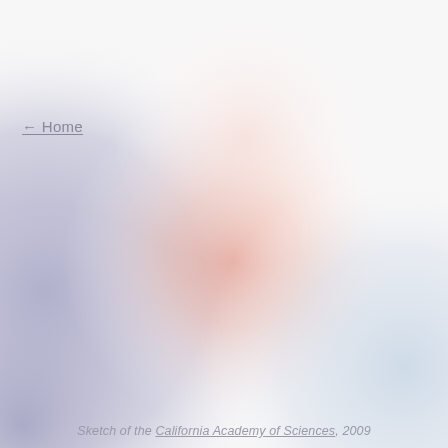[Figure (illustration): Blurred abstract background image with soft gradients of lavender/purple on the left, white/cream in the upper center-right, and salmon/pinkish-red in the center, fading to light blue on the lower right. The image is heavily blurred and appears to be a background rendering of a building or scene.]
← Home
Sketch of the California Academy of Sciences, 2009